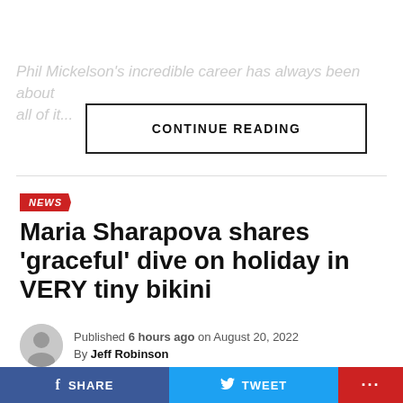Phil Mickelson's incredible career has always been about ...
CONTINUE READING
NEWS
Maria Sharapova shares 'graceful' dive on holiday in VERY tiny bikini
Published 6 hours ago on August 20, 2022
By Jeff Robinson
[Figure (photo): Colorful image strip at the bottom of the article]
SHARE   TWEET   ...